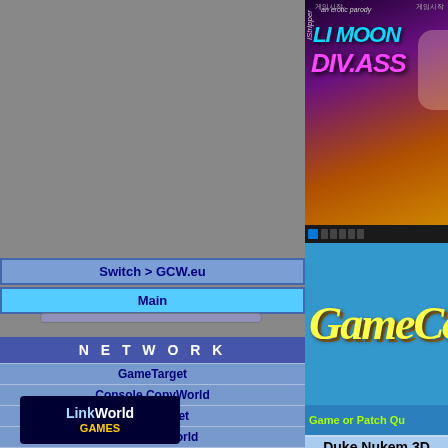[Figure (screenshot): iStripper advertisement banner for Li Moon Div.Ass erotic parody game]
Switch > GCW.eu
Main
[Figure (logo): GameCopyWorld logo - yellow italic text on blue background]
Game or Patch Qu
N E T W O R K
GameTarget
Console CopyWorld
Cover Target
CD Media World
LinkWorld
Music Target
CD/DVD Utilities
[Figure (logo): LinkWorld Games logo]
Duke Nukem 3D
20th Anniversary World Tour
System : PC
Language : [UK flag]
Protection : STEAM (Digital Download)
CD Cover : Cover Target
Index
Game Fixes:
Duke Nukem 3D: 20th Anniversary World Tour